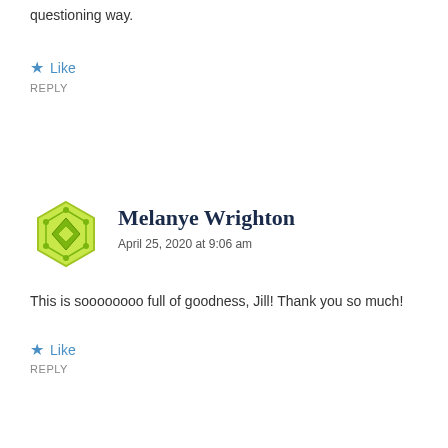questioning way.
Like
REPLY
[Figure (illustration): Green geometric avatar icon for Melanye Wrighton]
Melanye Wrighton
April 25, 2020 at 9:06 am
This is soooooooo full of goodness, Jill! Thank you so much!
Like
REPLY